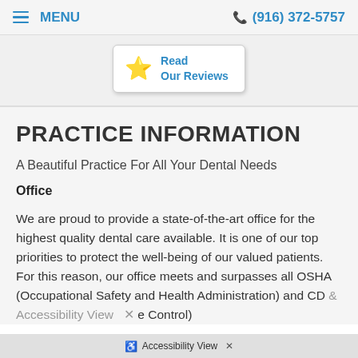≡ MENU   (916) 372-5757
[Figure (other): Read Our Reviews button with gold star icon]
PRACTICE INFORMATION
A Beautiful Practice For All Your Dental Needs
Office
We are proud to provide a state-of-the-art office for the highest quality dental care available. It is one of our top priorities to protect the well-being of our valued patients. For this reason, our office meets and surpasses all OSHA (Occupational Safety and Health Administration) and CD ... Control)
Accessibility View ×